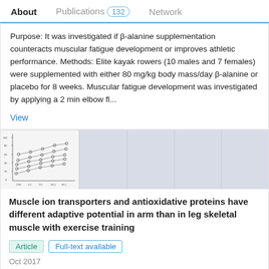About   Publications 132   Network
Purpose: It was investigated if β-alanine supplementation counteracts muscular fatigue development or improves athletic performance. Methods: Elite kayak rowers (10 males and 7 females) were supplemented with either 80 mg/kg body mass/day β-alanine or placebo for 8 weeks. Muscular fatigue development was investigated by applying a 2 min elbow fl...
View
[Figure (scatter-plot): Scatter plot figure thumbnail showing data points connected by lines across multiple conditions, with axis labels]
Muscle ion transporters and antioxidative proteins have different adaptive potential in arm than in leg skeletal muscle with exercise training
Article   Full-text available
Oct 2017
Magni Mohr · Tobias Schmidt Nielsen · Pal Weihe ·